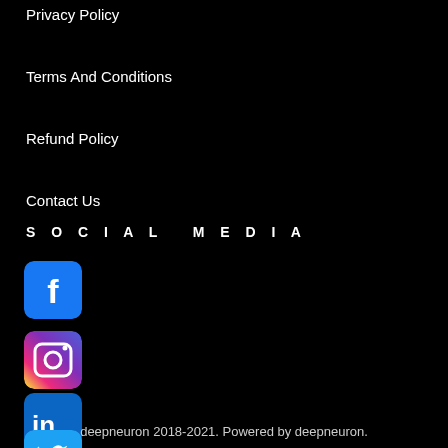Privacy Policy
Terms And Conditions
Refund Policy
Contact Us
SOCIAL MEDIA
[Figure (logo): Facebook logo icon - blue square with white 'f']
[Figure (logo): Instagram logo icon - gradient pink/orange square with camera icon]
[Figure (logo): LinkedIn logo icon - blue square with white 'in']
[Figure (logo): Twitter logo icon - light blue square with white bird]
deepneuron 2018-2021. Powered by deepneuron.